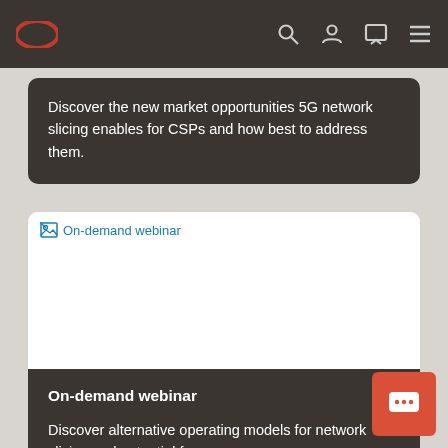Oracle navigation bar with logo and icons
Discover the new market opportunities 5G network slicing enables for CSPs and how best to address them.
[Figure (screenshot): Broken image placeholder labeled 'On-demand webinar' with broken image icon and blue text]
On-demand webinar
Discover alternative operating models for network slicing and potential for new revenue sources.